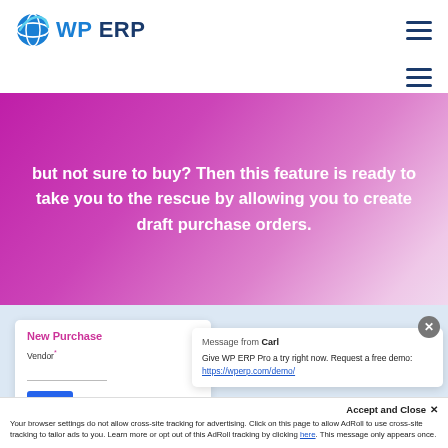WP ERP
[Figure (screenshot): WP ERP logo with blue globe icon and bold dark blue text 'WP ERP']
but not sure to buy? Then this feature is ready to take you to the rescue by allowing you to create draft purchase orders.
[Figure (screenshot): New Purchase Order form card showing Vendor field with asterisk label]
Message from Carl
Give WP ERP Pro a try right now. Request a free demo: https://wperp.com/demo/
Accept and Close ✕
Your browser settings do not allow cross-site tracking for advertising. Click on this page to allow AdRoll to use cross-site tracking to tailor ads to you. Learn more or opt out of this AdRoll tracking by clicking here. This message only appears once.